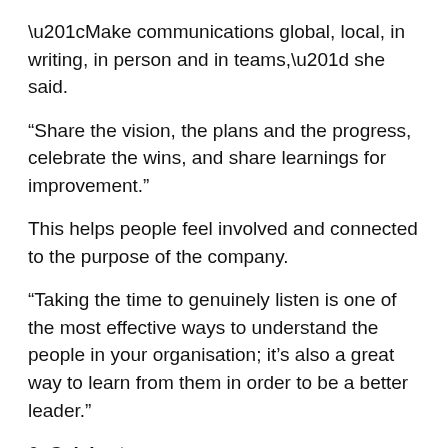“Make communications global, local, in writing, in person and in teams,” she said.
“Share the vision, the plans and the progress, celebrate the wins, and share learnings for improvement.”
This helps people feel involved and connected to the purpose of the company.
“Taking the time to genuinely listen is one of the most effective ways to understand the people in your organisation; it’s also a great way to learn from them in order to be a better leader.”
6. Celebrate success
Within Talent, teams are motivated by helping them understand what success looks like, and by helping them understand how it was achieved.